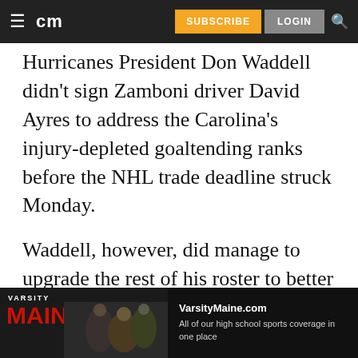cm | SUBSCRIBE | LOGIN
Hurricanes President Don Waddell didn't sign Zamboni driver David Ayres to address the Carolina's injury-depleted goaltending ranks before the NHL trade deadline struck Monday.
Waddell, however, did manage to upgrade the rest of his roster to better position his team in the tightly contested Metropolitan Division playoff race over the final six weeks of the season.
The Hurricanes acquired center Vincent
[Figure (photo): Varsity Maine advertisement banner: VarsityMaine.com - All of our high school sports coverage in one place, with football players in background]